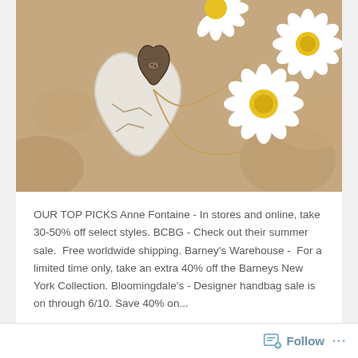[Figure (photo): Close-up photo of a fabric heart with a wooden heart on top, tied with twine, surrounded by white daisy flowers on a wooden background]
OUR TOP PICKS Anne Fontaine - In stores and online, take 30-50% off select styles. BCBG - Check out their summer sale.  Free worldwide shipping. Barney's Warehouse -  For a limited time only, take an extra 40% off the Barneys New York Collection. Bloomingdale's - Designer handbag sale is on through 6/10. Save 40% on...
Continue Reading →